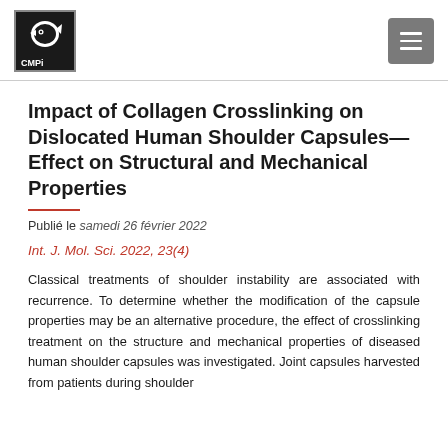CMPI logo and navigation menu
Impact of Collagen Crosslinking on Dislocated Human Shoulder Capsules—Effect on Structural and Mechanical Properties
Publié le samedi 26 février 2022
Int. J. Mol. Sci. 2022, 23(4)
Classical treatments of shoulder instability are associated with recurrence. To determine whether the modification of the capsule properties may be an alternative procedure, the effect of crosslinking treatment on the structure and mechanical properties of diseased human shoulder capsules was investigated. Joint capsules harvested from patients during shoulder